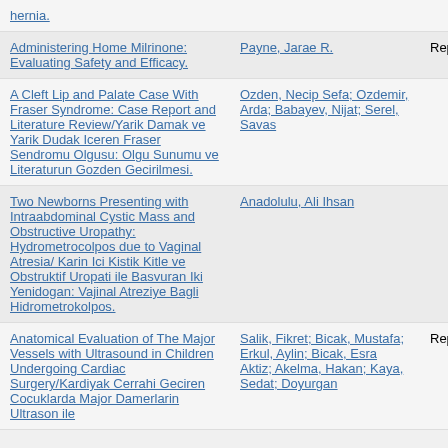| Title | Author(s) | Type |
| --- | --- | --- |
| hernia. |  |  |
| Administering Home Milrinone: Evaluating Safety and Efficacy. | Payne, Jarae R. | Report |
| A Cleft Lip and Palate Case With Fraser Syndrome: Case Report and Literature Review/Yarik Damak ve Yarik Dudak Iceren Fraser Sendromu Olgusu: Olgu Sunumu ve Literaturun Gozden Gecirilmesi. | Ozden, Necip Sefa; Ozdemir, Arda; Babayev, Nijat; Serel, Savas |  |
| Two Newborns Presenting with Intraabdominal Cystic Mass and Obstructive Uropathy: Hydrometrocolpos due to Vaginal Atresia/ Karin Ici Kistik Kitle ve Obstruktif Uropati ile Basvuran Iki Yenidogan: Vajinal Atreziye Bagli Hidrometrokolpos. | Anadolulu, Ali Ihsan |  |
| Anatomical Evaluation of The Major Vessels with Ultrasound in Children Undergoing Cardiac Surgery/Kardiyak Cerrahi Geciren Cocuklarda Major Damerlarin Ultrason ile... | Salik, Fikret; Bicak, Mustafa; Erkul, Aylin; Bicak, Esra Aktiz; Akelma, Hakan; Kaya, Sedat; Doyurgan | Report |